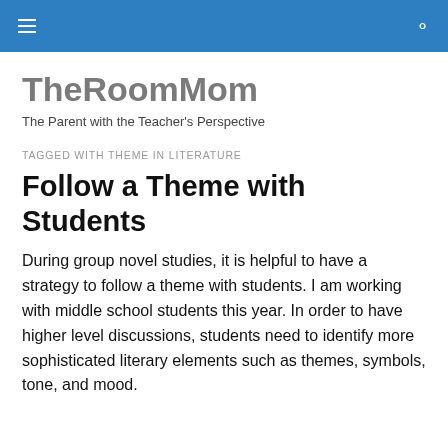TheRoomMom [navigation header with hamburger menu and search icon]
TheRoomMom
The Parent with the Teacher's Perspective
TAGGED WITH THEME IN LITERATURE
Follow a Theme with Students
During group novel studies, it is helpful to have a strategy to follow a theme with students. I am working with middle school students this year. In order to have higher level discussions, students need to identify more sophisticated literary elements such as themes, symbols, tone, and mood.